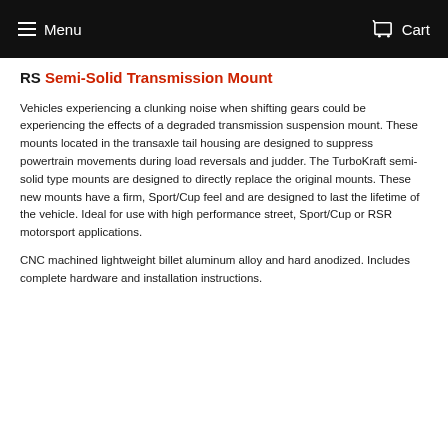Menu   Cart
RS Semi-Solid Transmission Mount
Vehicles experiencing a clunking noise when shifting gears could be experiencing the effects of a degraded transmission suspension mount.  These mounts located in the transaxle tail housing are designed to suppress powertrain movements during load reversals and judder. The TurboKraft semi-solid type mounts are designed to directly replace the original mounts. These new mounts have a firm, Sport/Cup feel and are designed to last the lifetime of the vehicle. Ideal for use with high performance street, Sport/Cup or RSR motorsport applications.
CNC machined lightweight billet aluminum alloy and hard anodized.  Includes complete hardware and installation instructions.